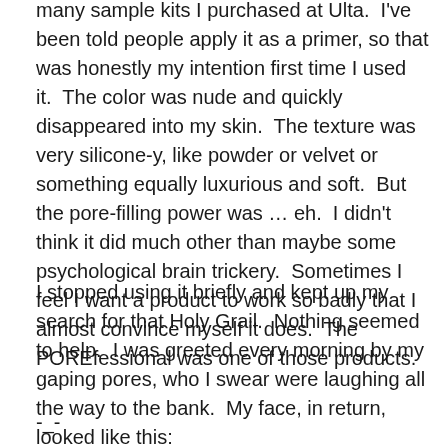many sample kits I purchased at Ulta.  I've been told people apply it as a primer, so that was honestly my intention first time I used it.  The color was nude and quickly disappeared into my skin.  The texture was very silicone-y, like powder or velvet or something equally luxurious and soft.  But the pore-filling power was … eh.  I didn't think it did much other than maybe some psychological brain trickery.  Sometimes I feel I want a product to work so badly that I almost convince myself it does.  The POREfessional was one of those products.
I stopped using it briefly and kept up my search for that Holy Grail.  Nothing seemed to help.  I was greeted every morning by my gaping pores, who I swear were laughing all the way to the bank.  My face, in return, looked like this:
-_-